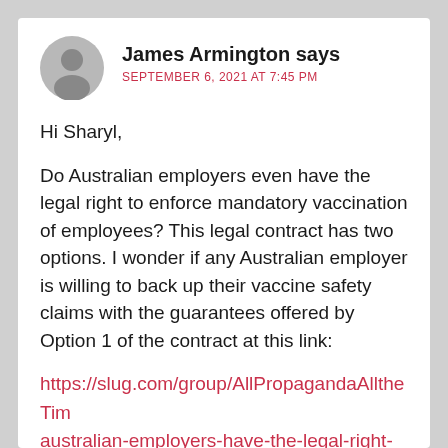James Armington says
SEPTEMBER 6, 2021 AT 7:45 PM
Hi Sharyl,
Do Australian employers even have the legal right to enforce mandatory vaccination of employees? This legal contract has two options. I wonder if any Australian employer is willing to back up their vaccine safety claims with the guarantees offered by Option 1 of the contract at this link:
https://slug.com/group/AllPropagandaAlltheTim australian-employers-have-the-legal-right-to-enforce-mandatory-vaccination-of-